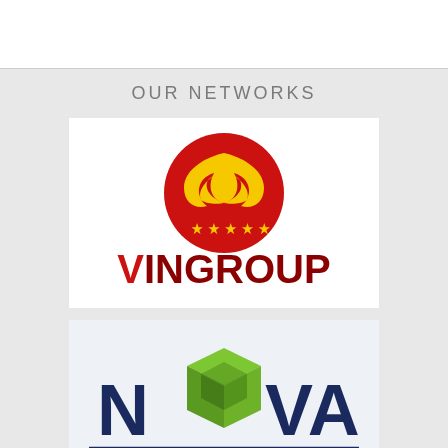OUR NETWORKS
[Figure (logo): Vingroup logo: red circle with yellow bird/flame motif and five yellow stars, with VINGROUP text below in red]
[Figure (logo): Nova logo: green 3D cube/diamond shape replacing the O in NOVA, dark navy blue text]